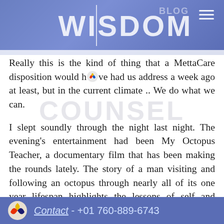WISDOM BLOG
Really this is the kind of thing that a MettaCare disposition would have had us address a week ago at least, but in the current climate .. We do what we can.
I slept soundly through the night last night. The evening's entertainment had been My Octopus Teacher, a documentary film that has been making the rounds lately. The story of a man visiting and following an octopus through nearly all of its one year lifespan highlights the lessons of self and goodwill to be learned in the face of nature.
Contact - +01 760-889-6743